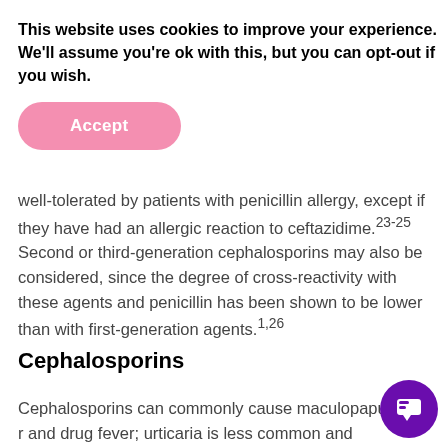This website uses cookies to improve your experience. We'll assume you're ok with this, but you can opt-out if you wish.
Accept
well-tolerated by patients with penicillin allergy, except if they have had an allergic reaction to ceftazidime.23-25 Second or third-generation cephalosporins may also be considered, since the degree of cross-reactivity with these agents and penicillin has been shown to be lower than with first-generation agents.1,26
Cephalosporins
Cephalosporins can commonly cause maculopapular r and drug fever; urticaria is less common and anaphylaxis is